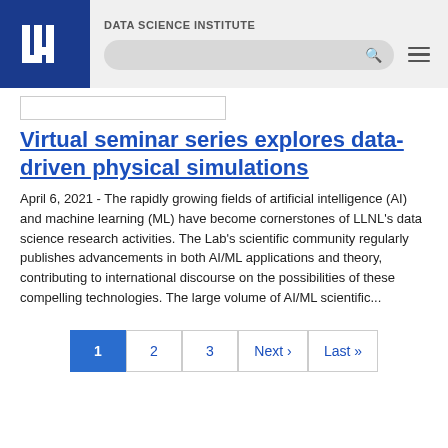DATA SCIENCE INSTITUTE
Virtual seminar series explores data-driven physical simulations
April 6, 2021 - The rapidly growing fields of artificial intelligence (AI) and machine learning (ML) have become cornerstones of LLNL's data science research activities. The Lab's scientific community regularly publishes advancements in both AI/ML applications and theory, contributing to international discourse on the possibilities of these compelling technologies. The large volume of AI/ML scientific...